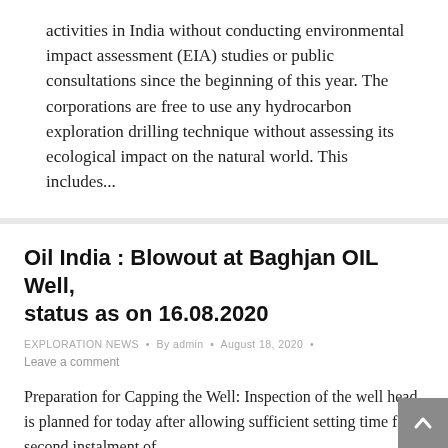activities in India without conducting environmental impact assessment (EIA) studies or public consultations since the beginning of this year. The corporations are free to use any hydrocarbon exploration drilling technique without assessing its ecological impact on the natural world. This includes...
Oil India : Blowout at Baghjan OIL Well, status as on 16.08.2020
EXPLORATION NEWS • By admin • August 18, 2020 • Leave a comment
Preparation for Capping the Well: Inspection of the well head is planned for today after allowing sufficient setting time for second instalment of...